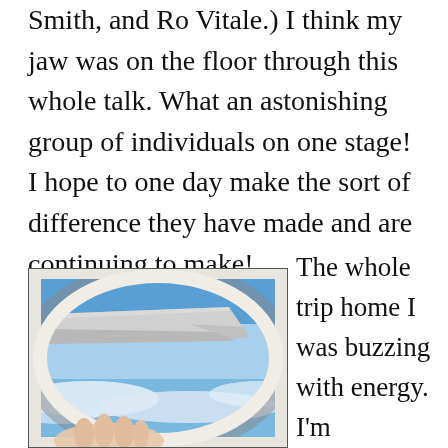Smith, and Ro Vitale.) I think my jaw was on the floor through this whole talk. What an astonishing group of individuals on one stage! I hope to one day make the sort of difference they have made and are continuing to make!
[Figure (photo): Photo taken from inside an airplane showing a wing against a blue sky with clouds, and a hand visible at the bottom of the oval window frame.]
The whole trip home I was buzzing with energy. I'm motivated to push myself through exposures and